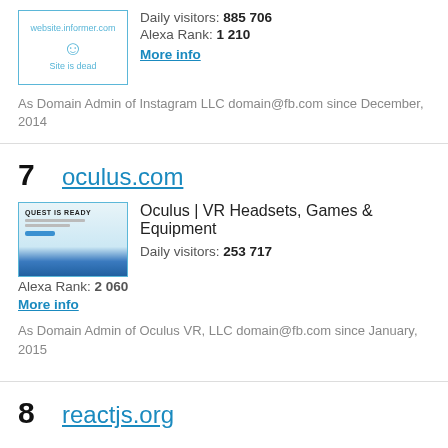Daily visitors: 885 706
Alexa Rank: 1 210
More info
As Domain Admin of Instagram LLC domain@fb.com since December, 2014
7
oculus.com
Oculus | VR Headsets, Games & Equipment
Daily visitors: 253 717
Alexa Rank: 2 060
More info
As Domain Admin of Oculus VR, LLC domain@fb.com since January, 2015
8
reactjs.org